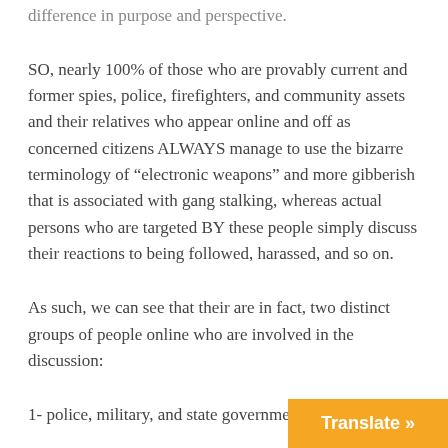difference in purpose and perspective.
SO, nearly 100% of those who are provably current and former spies, police, firefighters, and community assets and their relatives who appear online and off as concerned citizens ALWAYS manage to use the bizarre terminology of “electronic weapons” and more gibberish that is associated with gang stalking, whereas actual persons who are targeted BY these people simply discuss their reactions to being followed, harassed, and so on.
As such, we can see that their are in fact, two distinct groups of people online who are involved in the discussion:
1- police, military, and state governme…
Translate »